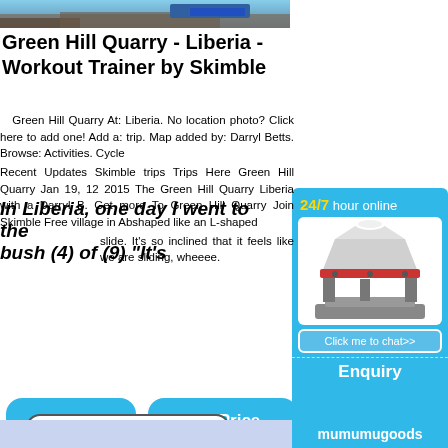[Figure (photo): Photo of Green Hill Quarry, rocky/industrial landscape, top of page]
Green Hill Quarry - Liberia - Workout Trainer by Skimble
Green Hill Quarry At: Liberia. No location photo? Click here to add one! Add a: trip. Map added by: Darryl Betts. Browse: Activities. Cycle in Liberia, one day I went to the bush (4) of (9) “It’s Recent Updates Skimble trips Trips Here Green Hill Quarry Jan 19, 12 2015 The Green Hill Quarry Liberia with a Darryl B. Get more To Green Hill Quarry Join Skimble Free village in Abshaped like an L-shaped slide. It’s so inclined that it feels like we are sliding, wheeee.
[Figure (screenshot): Right sidebar ad: 24/7 hour online, industrial machine (cone crusher), Click me to chat>> button, Enquiry, mumumugoods]